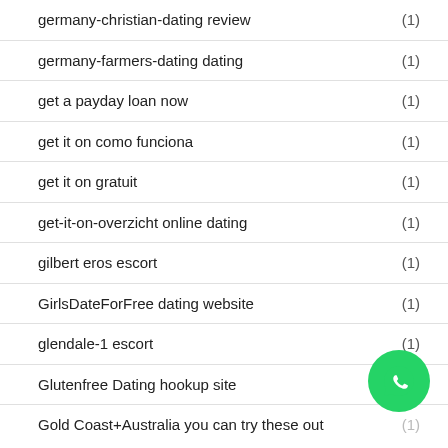germany-christian-dating review (1)
germany-farmers-dating dating (1)
get a payday loan now (1)
get it on como funciona (1)
get it on gratuit (1)
get-it-on-overzicht online dating (1)
gilbert eros escort (1)
GirlsDateForFree dating website (1)
glendale-1 escort (1)
Glutenfree Dating hookup site
Gold Coast+Australia you can try these out (1)